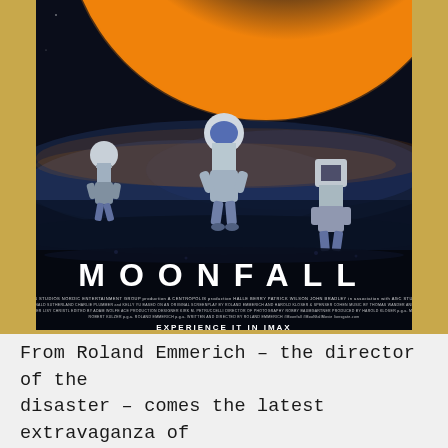[Figure (photo): Movie poster for MOONFALL (2022). Dark blue space scene with three astronauts in spacesuits floating on a dark surface. Above them looms a massive planetary body (the Moon close to Earth) with glowing orange/gold light and dramatic clouds. The film title MOONFALL appears in large spaced white letters. Credits text appears in small white text below the title. At the bottom: EXPERIENCE IT IN IMAX / FEBRUARY 4 2022. The background of the page behind the poster is golden/tan color.]
From Roland Emmerich – the director of the disaster – comes the latest extravaganza of